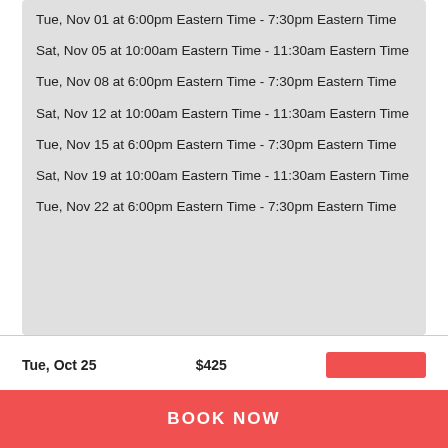Tue, Nov 01 at 6:00pm Eastern Time - 7:30pm Eastern Time
Sat, Nov 05 at 10:00am Eastern Time - 11:30am Eastern Time
Tue, Nov 08 at 6:00pm Eastern Time - 7:30pm Eastern Time
Sat, Nov 12 at 10:00am Eastern Time - 11:30am Eastern Time
Tue, Nov 15 at 6:00pm Eastern Time - 7:30pm Eastern Time
Sat, Nov 19 at 10:00am Eastern Time - 11:30am Eastern Time
Tue, Nov 22 at 6:00pm Eastern Time - 7:30pm Eastern Time
Tue, Oct 25   $425
BOOK NOW